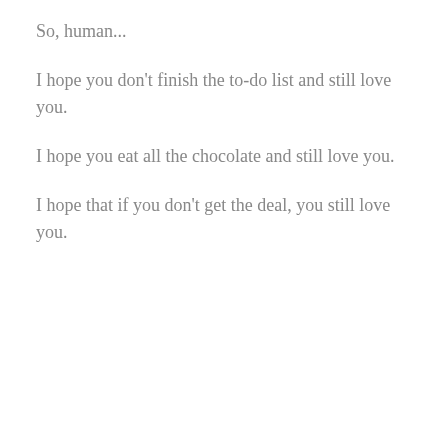So, human...
I hope you don't finish the to-do list and still love you.
I hope you eat all the chocolate and still love you.
I hope that if you don't get the deal, you still love you.